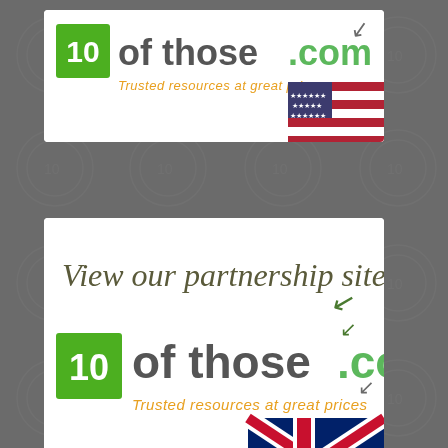[Figure (logo): 10ofthose.com banner with US flag - Trusted resources at great prices]
[Figure (logo): View our partnership site - 10ofthose.com banner with UK flag - Trusted resources at great prices]